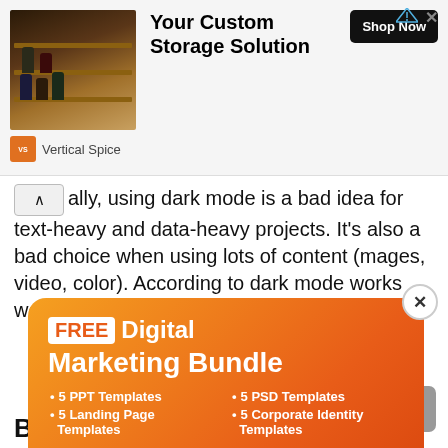[Figure (screenshot): Advertisement banner for Vertical Spice custom storage solution with shelf image, 'Your Custom Storage Solution' headline, and 'Shop Now' button]
ally, using dark mode is a bad idea for text-heavy and data-heavy projects. It's also a bad choice when using lots of content (images, video, color). According to dark mode works well for simple cases, but not here.
[Figure (screenshot): Popup advertisement for FREE Digital Marketing Bundle with orange gradient background, listing 5 PPT Templates, 5 Landing Page Templates, 5 PSD Templates, 5 Corporate Identity Templates, email input field, and Get Bundle button]
B